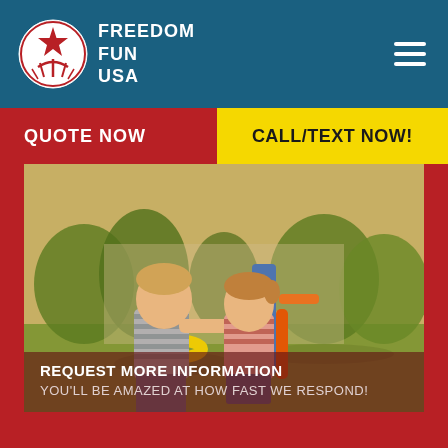FREEDOM FUN USA
QUOTE NOW
CALL/TEXT NOW!
[Figure (photo): Two young children playing outdoors with colorful toy ring toss game on green grass with plants and trees in the background. Warm golden lighting.]
REQUEST MORE INFORMATION
YOU'LL BE AMAZED AT HOW FAST WE RESPOND!